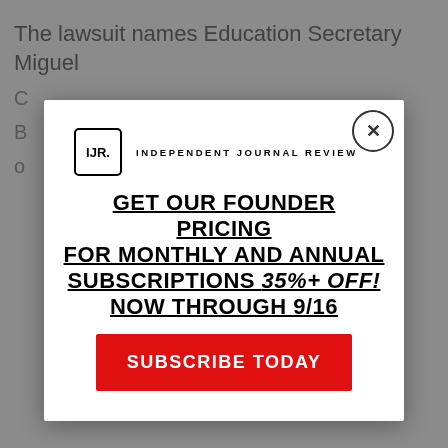The lawsuit names Education Secretary Miguel
[Figure (screenshot): Modal popup from Independent Journal Review (IJR) offering founder pricing for monthly and annual subscriptions at 35%+ off, now through 9/16, with a red Subscribe Today button and a close (X) button in the top right corner.]
SUBSCRIBE TODAY